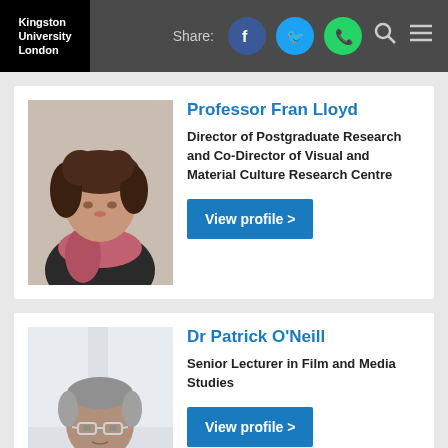Kingston University London | Share: [Facebook] [Twitter] [WhatsApp] [Search] [Menu]
[Figure (photo): Photo of Professor Fran Lloyd, a woman with curly brown hair wearing a pink/red scarf and dark jacket]
Professor Fran Lloyd
Director of Postgraduate Research and Co-Director of Visual and Material Culture Research Centre
View profile >
[Figure (photo): Photo of Dr Patrick O'Neill, a middle-aged man with glasses and short grey hair wearing a dark top]
Dr Patrick O'Neill
Senior Lecturer in Film and Media Studies
View profile >